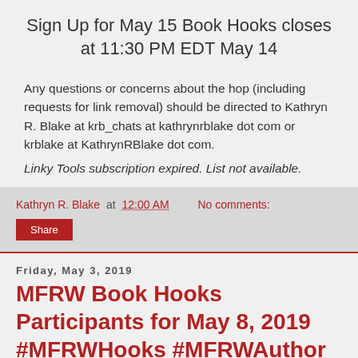Sign Up for May 15 Book Hooks closes at 11:30 PM EDT May 14
Any questions or concerns about the hop (including requests for link removal) should be directed to Kathryn R. Blake at krb_chats at kathrynrblake dot com or krblake at KathrynRBlake dot com.
Linky Tools subscription expired. List not available.
Kathryn R. Blake at 12:00 AM   No comments:
Share
Friday, May 3, 2019
MFRW Book Hooks Participants for May 8, 2019 #MFRWHooks #MFRWAuthor